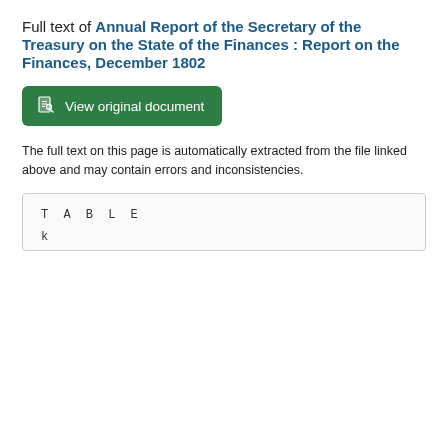Full text of Annual Report of the Secretary of the Treasury on the State of the Finances : Report on the Finances, December 1802
[Figure (other): Green button labeled 'View original document' with a document icon]
The full text on this page is automatically extracted from the file linked above and may contain errors and inconsistencies.
TABLE

k